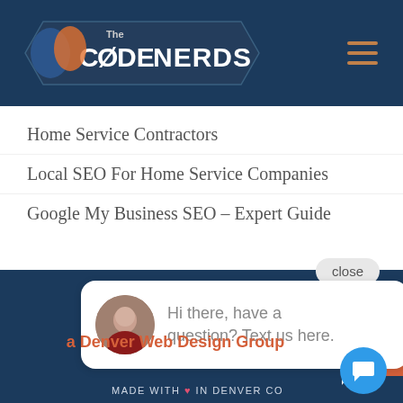The Code Nerds
Home Service Contractors
Local SEO For Home Service Companies
Google My Business SEO – Expert Guide
close
Hi there, have a question? Text us here.
a Denver Web Design Group
MADE WITH ♥ IN DENVER CO